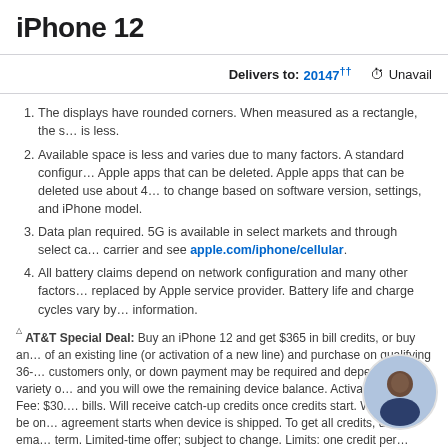iPhone 12
Delivers to: 20147†† Unavailable
The displays have rounded corners. When measured as a rectangle, the screen is less.
Available space is less and varies due to many factors. A standard configuration uses Apple apps that can be deleted. Apple apps that can be deleted use about 4 GB and are subject to change based on software version, settings, and iPhone model.
Data plan required. 5G is available in select markets and through select carriers. Contact your carrier and see apple.com/iphone/cellular.
All battery claims depend on network configuration and many other factors; actual results vary. Replaced by Apple service provider. Battery life and charge cycles vary by use and settings. See apple.com for information.
△ AT&T Special Deal: Buy an iPhone 12 and get $365 in bill credits, or buy an iPhone 12 mini and get $346 in bill credits when you add a new line of service (or activation of a new line) and purchase on qualifying 36-month installment plan. Requires activation. New AT&T customers only, or down payment may be required and depends on a variety of factors. If you cancel eligible lines, credits will stop and you will owe the remaining device balance. Activation/Upgrade Fee: $30. Tax on full retail price due at sale. Bill credits are applied to monthly bills. Will receive catch-up credits once credits start. Wireless line must be on 36-month installment agreement to receive bill credits. 36-month agreement starts when device is shipped. To get all credits, device must remain on agreement for entire term. Limited-time offer; subject to change. Limits: one credit per qualifying new line; additional lines may not qualify. Restrictions apply. Price for iPhone 12 and iPhone 12 mini includes a $30 AT&T connectivity discount.
[Figure (photo): Profile photo of a person in the bottom right corner]